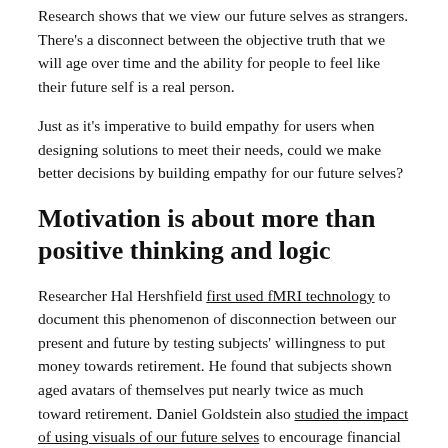Research shows that we view our future selves as strangers. There’s a disconnect between the objective truth that we will age over time and the ability for people to feel like their future self is a real person.
Just as it’s imperative to build empathy for users when designing solutions to meet their needs, could we make better decisions by building empathy for our future selves?
Motivation is about more than positive thinking and logic
Researcher Hal Hershfield first used fMRI technology to document this phenomenon of disconnection between our present and future by testing subjects’ willingness to put money towards retirement. He found that subjects shown aged avatars of themselves put nearly twice as much toward retirement. Daniel Goldstein also studied the impact of using visuals of our future selves to encourage financial planning. The challenge, he found, was in getting people to use their imagination to envision a more vivid picture of themselves in the future. The research showed